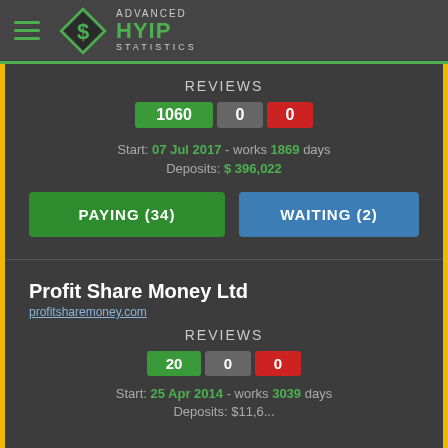Advanced HYIP Statistics
REVIEWS
1060 0 0
Start: 07 Jul 2017 - works 1869 days
Deposits: $ 396,022
PAYING (34)  WAITING (2)
Profit Share Money Ltd
profitsharemoney.com
REVIEWS
20 0 0
Start: 25 Apr 2014 - works 3039 days
Deposits: $11,6...